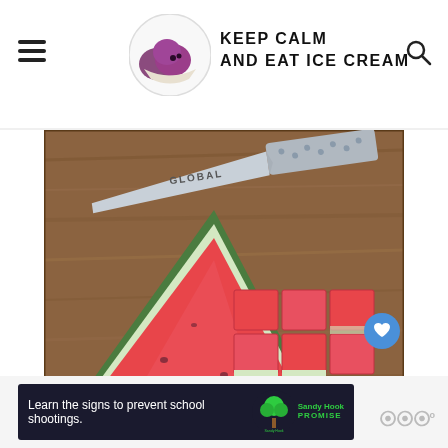KEEP CALM AND EAT ICE CREAM
[Figure (photo): Watermelon slice and watermelon chunks on a wooden cutting board with a Global brand knife]
WHAT'S NEXT → Raspberry popsicles
523
[Figure (infographic): Advertisement: Learn the signs to prevent school shootings. Sandy Hook Promise logo.]